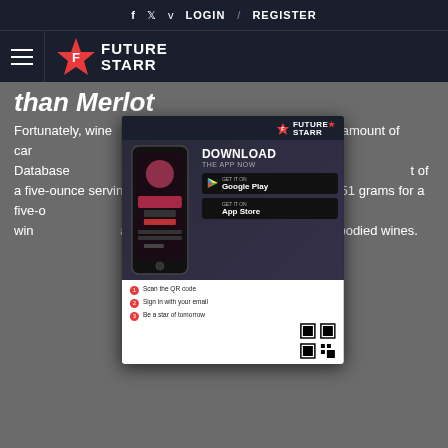f  t  v  LOGIN / REGISTER
FUTURE STARR (logo + nav)
than Merlot
Fortunately, wine [ad overlay] way to calculate the amount of car [ad] help of USDA's Nutrient Database [ad] content of different types of [ad] t of a five-ounce serving of white w [ad] pared to 2.51 grams for a five-o [ad] addition, the carb content of red win [ad] al sugar, which is higher in the bigger-bodied wines.
[Figure (screenshot): FutureStarr app download advertisement overlay showing phone mockup, Download the App Now text, Google Play and App Store buttons, QR code steps, and www.futurestarr.com footer.]
While red wine is the most popular red variety, it contains less sugar and carbohydrates than merlot juice. A few different types of white wine are better suited for a low-carb diet. For example, merlot juice contains fewer carbs than wine with resveratrol, an antioxidant. Resveratrol protects blood vessels, reduces LDL cholesterol, and raises HDL cholesterol.